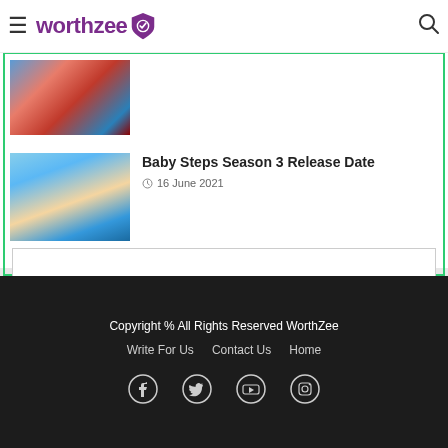worthzee
Season 2 Release Date
Baby Steps Season 3 Release Date
16 June 2021
Show More
Copyright % All Rights Reserved WorthZee
Write For Us   Contact Us   Home